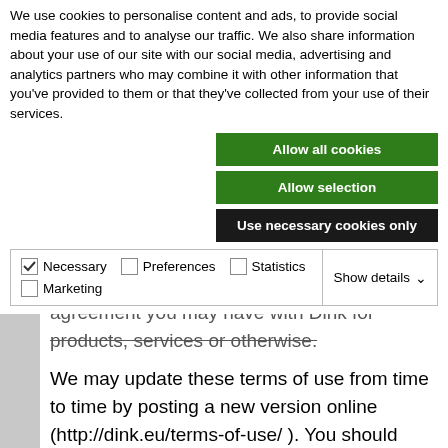We use cookies to personalise content and ads, to provide social media features and to analyse our traffic. We also share information about your use of our site with our social media, advertising and analytics partners who may combine it with other information that you've provided to them or that they've collected from your use of their services.
Allow all cookies
Allow selection
Use necessary cookies only
Necessary  Preferences  Statistics  Marketing  Show details
agreement you may have with Dink for products, services or otherwise.
We may update these terms of use from time to time by posting a new version online (http://dink.eu/terms-of-use/ ). You should check this page occasionally to review any changes. If we make any material changes we will